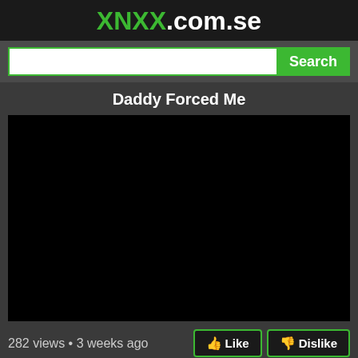XNXX.com.se
[Figure (screenshot): Search bar with green border and green Search button]
Daddy Forced Me
[Figure (photo): Black video player area]
282 views • 3 weeks ago
Like  Dislike